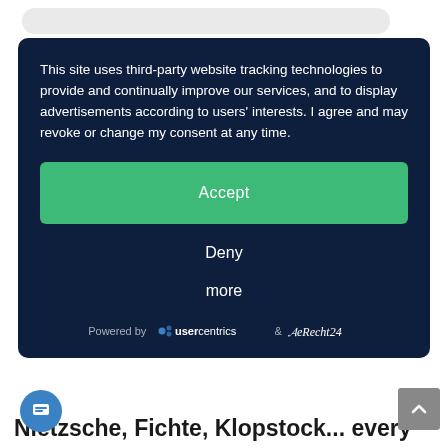This site uses third-party website tracking technologies to provide and continually improve our services, and to display advertisements according to users' interests. I agree and may revoke or change my consent at any time.
Accept
Deny
more
Powered by usercentrics & eRecht24
Nietzsche, Fichte, Klopstock... every